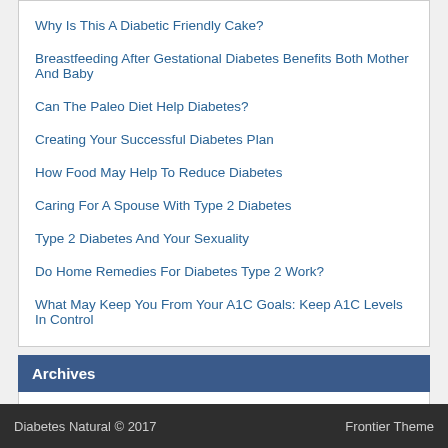Why Is This A Diabetic Friendly Cake?
Breastfeeding After Gestational Diabetes Benefits Both Mother And Baby
Can The Paleo Diet Help Diabetes?
Creating Your Successful Diabetes Plan
How Food May Help To Reduce Diabetes
Caring For A Spouse With Type 2 Diabetes
Type 2 Diabetes And Your Sexuality
Do Home Remedies For Diabetes Type 2 Work?
What May Keep You From Your A1C Goals: Keep A1C Levels In Control
Archives
Archives  Select Month
Diabetes Natural © 2017   Frontier Theme